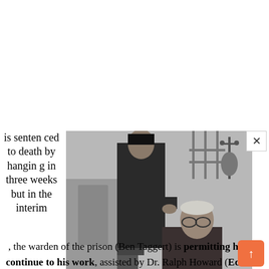is sentenced to death by hanging in three weeks but in the interim
[Figure (photo): Black and white still from the film 'Before I Hang': a warden stands speaking to an elderly Dr. Garth (Boris Karloff) who is seated and wearing glasses.]
The warden speaks to the elderly Dr. Garth (Boris Karloff) in Before I Hang
, the warden of the prison (Ben Taggert) is permitting him to continue to his work, assisted by Dr. Ralph Howard (Edward Van Sloan, aka. Professor Van Helsing in Dracula, Dracula's Daughter). They work